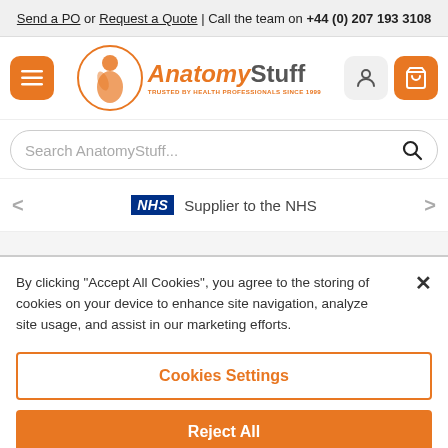Send a PO or Request a Quote | Call the team on +44 (0) 207 193 3108
[Figure (logo): AnatomyStuff logo with orange circle, person silhouette, italic orange 'Anatomy' and grey 'Stuff' text, tagline 'Trusted by Health Professionals since 1999']
Search AnatomyStuff...
NHS Supplier to the NHS
By clicking "Accept All Cookies", you agree to the storing of cookies on your device to enhance site navigation, analyze site usage, and assist in our marketing efforts.
Cookies Settings
Reject All